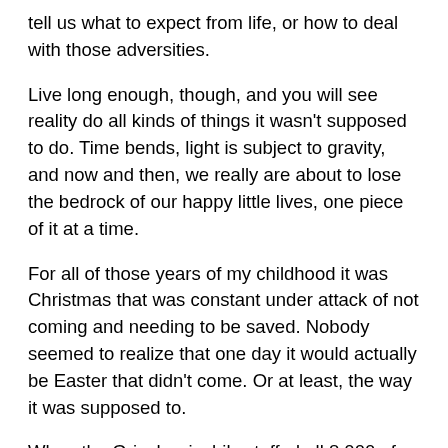tell us what to expect from life, or how to deal with those adversities.
Live long enough, though, and you will see reality do all kinds of things it wasn't supposed to do. Time bends, light is subject to gravity, and now and then, we really are about to lose the bedrock of our happy little lives, one piece of it at a time.
For all of those years of my childhood it was Christmas that was constant under attack of not coming and needing to be saved. Nobody seemed to realize that one day it would actually be Easter that didn't come. Or at least, the way it was supposed to.
When the Grinch grinchily stuffed all 8,000 of the Who's little Christmas packages into his enormous bag and managed to get them all up to the top of his private mountain, he learned a lesson that we were all supposed to learn, comfortably, and from a safe distance.
I watched the animated version of the tale last year for the